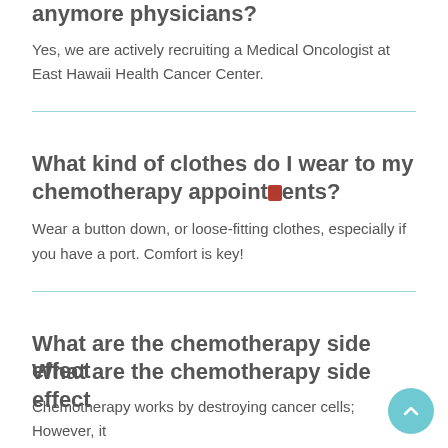anymore physicians?
Yes, we are actively recruiting a Medical Oncologist at East Hawaii Health Cancer Center.
What kind of clothes do I wear to my chemotherapy appointments?
Wear a button down, or loose-fitting clothes, especially if you have a port. Comfort is key!
What are the chemotherapy side effects?
Chemotherapy works by destroying cancer cells; However, it